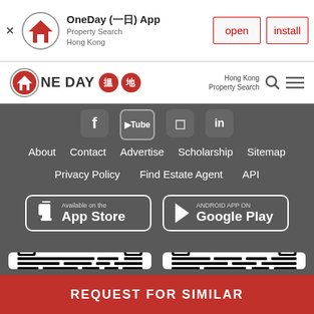[Figure (screenshot): App install banner for OneDay (一日) App - Property Search Hong Kong, with open and install buttons]
[Figure (logo): OneDay 搵地 logo with house icon and Chinese characters]
About  Contact  Advertise  Scholarship  Sitemap
Privacy Policy  Find Estate Agent  API
[Figure (screenshot): App Store and Google Play download buttons]
[Figure (other): Two QR codes side by side for app download]
REQUEST FOR SIMILAR